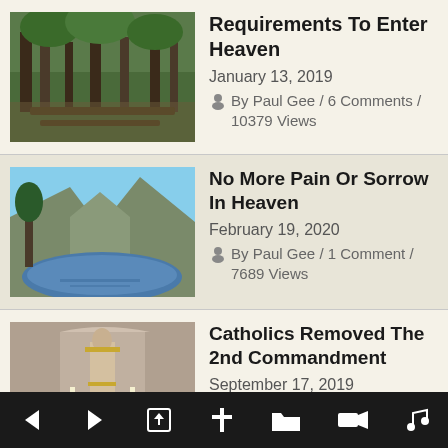Requirements To Enter Heaven
January 13, 2019
By Paul Gee / 6 Comments / 10379 Views
No More Pain Or Sorrow In Heaven
February 19, 2020
By Paul Gee / 1 Comment / 7689 Views
Catholics Removed The 2nd Commandment
September 17, 2019
By Paul Gee / 19 Comments / 7280 Views
Live Each Day As If It Was Your Last
← → ⬆ + 🗂 📹 ♪